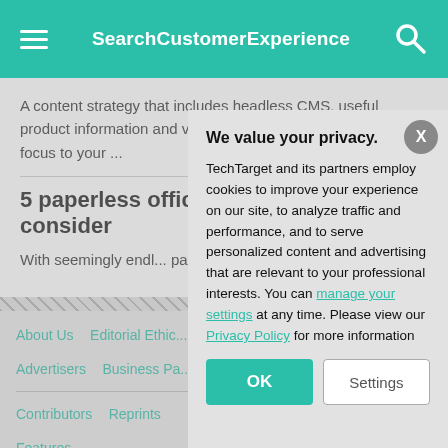SearchCustomerExperience
A content strategy that includes headless CMS, useful product information and visuals can draw the customer's focus to your ...
5 paperless office software tools to consider
With seemingly endl... paperless office soft...
About Us  Editorial Ethic...  Advertisers  Business Pa...
Contributors  Reprints  Features
Guides  Opinions  Pho...
We value your privacy.
TechTarget and its partners employ cookies to improve your experience on our site, to analyze traffic and performance, and to serve personalized content and advertising that are relevant to your professional interests. You can manage your settings at any time. Please view our Privacy Policy for more information